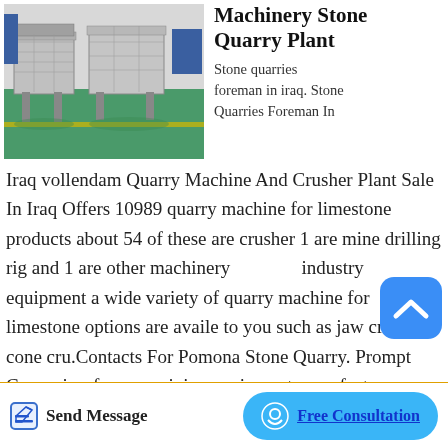[Figure (photo): Industrial stone quarry machinery equipment in a factory floor with green painted concrete floor]
Machinery Stone Quarry Plant
Stone quarries foreman in iraq. Stone Quarries Foreman In Iraq vollendam Quarry Machine And Crusher Plant Sale In Iraq Offers 10989 quarry machine for limestone products about 54 of these are crusher 1 are mine drilling rig and 1 are other machinery industry equipment a wide variety of quarry machine for limestone options are availe to you such as jaw crusher cone cru.Contacts For Pomona Stone Quarry. Prompt Caesar is a famous mining equipment manufacturer well-known both at home and abroad, major in producing stone
Send Message
Free Consultation